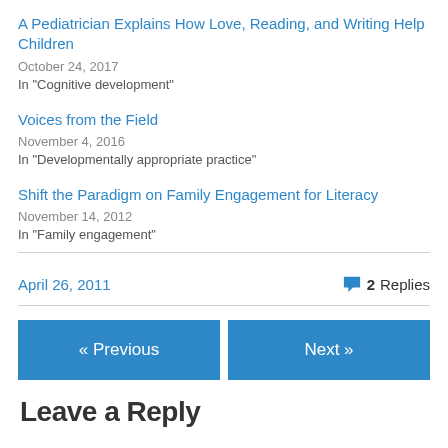A Pediatrician Explains How Love, Reading, and Writing Help Children
October 24, 2017
In "Cognitive development"
Voices from the Field
November 4, 2016
In "Developmentally appropriate practice"
Shift the Paradigm on Family Engagement for Literacy
November 14, 2012
In "Family engagement"
April 26, 2011
2 Replies
« Previous
Next »
Leave a Reply